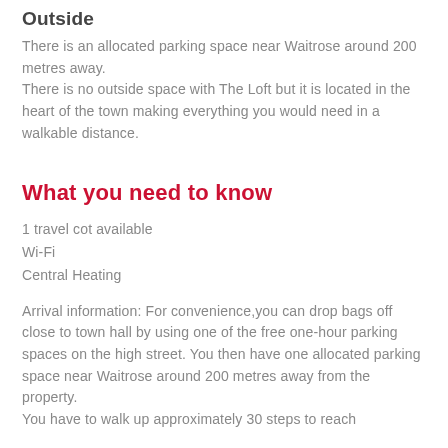Outside
There is an allocated parking space near Waitrose around 200 metres away.
There is no outside space with The Loft but it is located in the heart of the town making everything you would need in a walkable distance.
What you need to know
1 travel cot available
Wi-Fi
Central Heating
Arrival information: For convenience,you can drop bags off close to town hall by using one of the free one-hour parking spaces on the high street. You then have one allocated parking space near Waitrose around 200 metres away from the property.
You have to walk up approximately 30 steps to reach